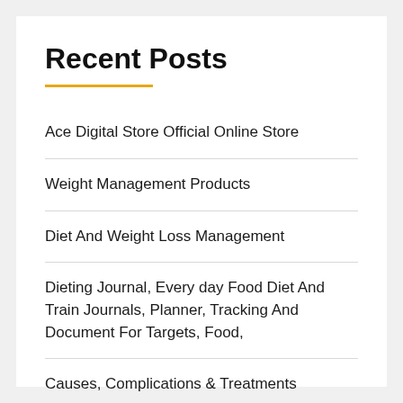Recent Posts
Ace Digital Store Official Online Store
Weight Management Products
Diet And Weight Loss Management
Dieting Journal, Every day Food Diet And Train Journals, Planner, Tracking And Document For Targets, Food,
Causes, Complications & Treatments